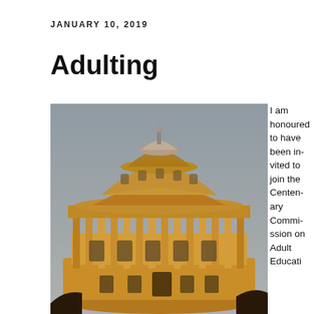JANUARY 10, 2019
Adulting
[Figure (photo): Photograph of the Radcliffe Camera building at Oxford University, a large circular neoclassical stone building with a prominent dome, photographed from below against a grey sky, bathed in warm golden light.]
I am honoured to have been invited to join the Centenary Commission on Adult Educati